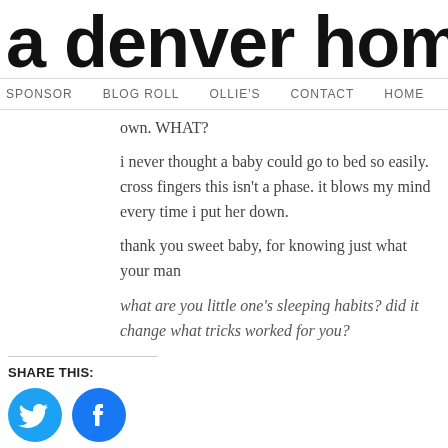a denver home c
SPONSOR   BLOG ROLL   OLLIE'S   CONTACT   HOME
own. WHAT?
i never thought a baby could go to bed so easily. cross fingers this isn't a phase. it blows my mind every time i put her down.
thank you sweet baby, for knowing just what your man
what are you little one's sleeping habits? did it change what tricks worked for you?
SHARE THIS:
[Figure (other): Twitter and Facebook share icon buttons (blue circles with white bird and f logos)]
LIKE THIS: